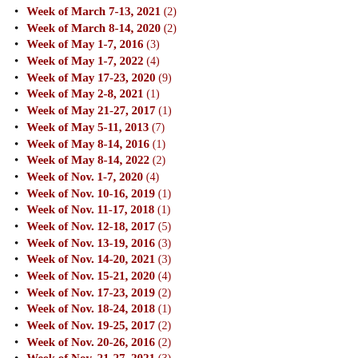Week of March 7-13, 2021 (2)
Week of March 8-14, 2020 (2)
Week of May 1-7, 2016 (3)
Week of May 1-7, 2022 (4)
Week of May 17-23, 2020 (9)
Week of May 2-8, 2021 (1)
Week of May 21-27, 2017 (1)
Week of May 5-11, 2013 (7)
Week of May 8-14, 2016 (1)
Week of May 8-14, 2022 (2)
Week of Nov. 1-7, 2020 (4)
Week of Nov. 10-16, 2019 (1)
Week of Nov. 11-17, 2018 (1)
Week of Nov. 12-18, 2017 (5)
Week of Nov. 13-19, 2016 (3)
Week of Nov. 14-20, 2021 (3)
Week of Nov. 15-21, 2020 (4)
Week of Nov. 17-23, 2019 (2)
Week of Nov. 18-24, 2018 (1)
Week of Nov. 19-25, 2017 (2)
Week of Nov. 20-26, 2016 (2)
Week of Nov. 21-27, 2021 (3)
Week of Nov. 22-28, 2020 (5)
Week of Nov. 24-30, 2019 (2)
Week of Nov. 25-Dec. 1, 2018 (2)